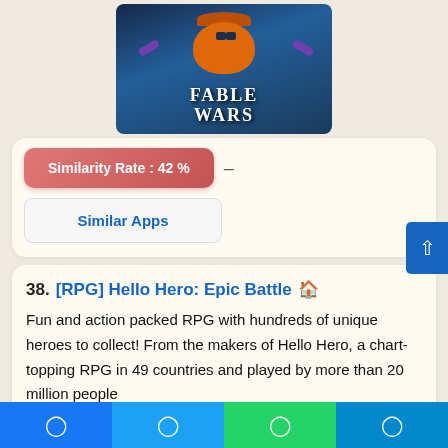[Figure (illustration): Fable Wars game artwork showing a pumpkin character with purple limbs and the game title 'FABLE WARS']
Similarity Rate : 42 %
Similar Apps
38. [RPG] Hello Hero: Epic Battle
Fun and action packed RPG with hundreds of unique heroes to collect! From the makers of Hello Hero, a chart-topping RPG in 49 countries and played by more than 20 million people